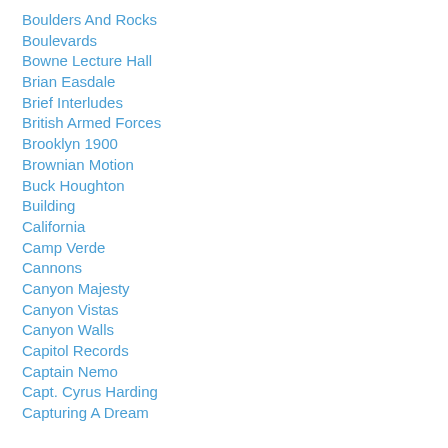Boulders And Rocks
Boulevards
Bowne Lecture Hall
Brian Easdale
Brief Interludes
British Armed Forces
Brooklyn 1900
Brownian Motion
Buck Houghton
Building
California
Camp Verde
Cannons
Canyon Majesty
Canyon Vistas
Canyon Walls
Capitol Records
Captain Nemo
Capt. Cyrus Harding
Capturing A Dream